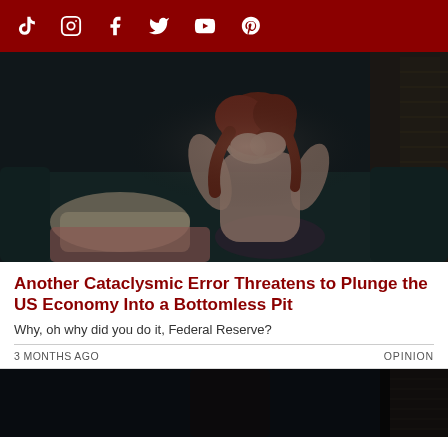Social media icons: TikTok, Instagram, Facebook, Twitter, YouTube, Pinterest
[Figure (photo): A person with red hair sitting on a dark couch with head in hands, in a dimly lit room. A pillow and pink blanket are visible. A window with blinds is in the background on the right.]
Another Cataclysmic Error Threatens to Plunge the US Economy Into a Bottomless Pit
Why, oh why did you do it, Federal Reserve?
3 MONTHS AGO
OPINION
[Figure (photo): Bottom portion of a dark, dimly lit scene, partially cropped, showing a person and window blinds in the background.]